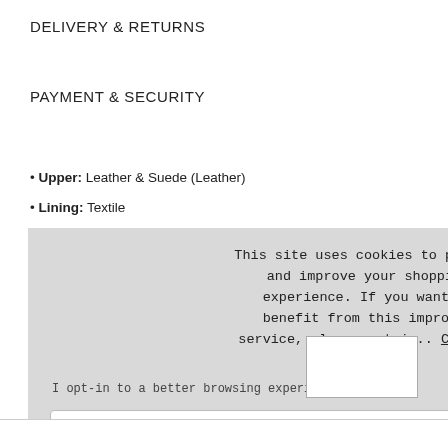DELIVERY & RETURNS
PAYMENT & SECURITY
Upper: Leather & Suede (Leather)
Lining: Textile
This site uses cookies to provide and improve your shopping experience. If you want to benefit from this improved service, please opt-in.. Cookies Page.

I opt-in to a better browsing experience
ACCEPT COOKIES